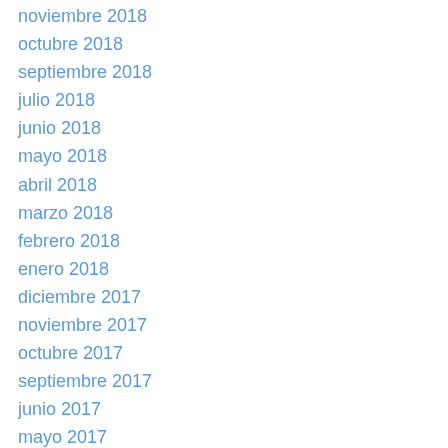noviembre 2018
octubre 2018
septiembre 2018
julio 2018
junio 2018
mayo 2018
abril 2018
marzo 2018
febrero 2018
enero 2018
diciembre 2017
noviembre 2017
octubre 2017
septiembre 2017
junio 2017
mayo 2017
marzo 2017
febrero 2017
diciembre 2016
octubre 2016